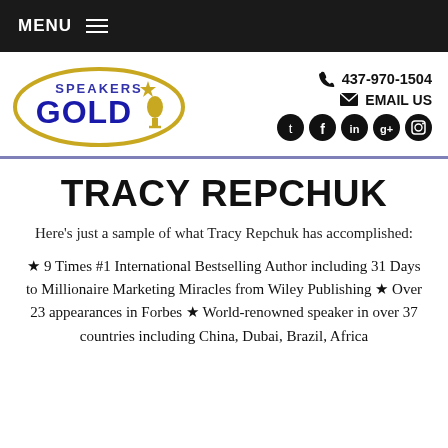MENU
[Figure (logo): Speakers Gold logo — oval with SPEAKERS GOLD text and star/microphone graphic in blue and gold]
437-970-1504
EMAIL US
[Figure (other): Social media icons: Twitter, Facebook, LinkedIn, Google+, Instagram — circular black icons]
TRACY REPCHUK
Here's just a sample of what Tracy Repchuk has accomplished:
★ 9 Times #1 International Bestselling Author including 31 Days to Millionaire Marketing Miracles from Wiley Publishing ★ Over 23 appearances in Forbes ★ World-renowned speaker in over 37 countries including China, Dubai, Brazil, Africa